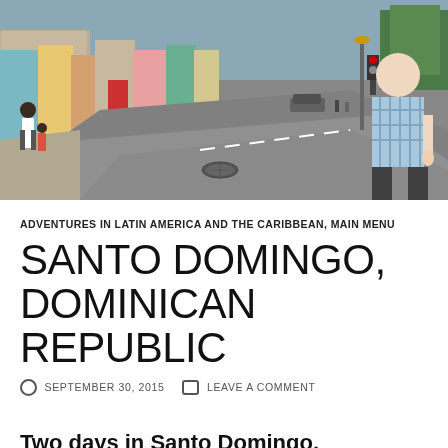[Figure (photo): Street scene in Santo Domingo, Dominican Republic. Colorful colonial buildings line a narrow street. A man in a plaid shirt walks on the right, and pedestrians are visible on the left. The road is paved with a manhole cover visible.]
ADVENTURES IN LATIN AMERICA AND THE CARIBBEAN, MAIN MENU
SANTO DOMINGO, DOMINICAN REPUBLIC
SEPTEMBER 30, 2015   LEAVE A COMMENT
Two days in Santo Domingo, Dominican Republic: A city with vibrant culture